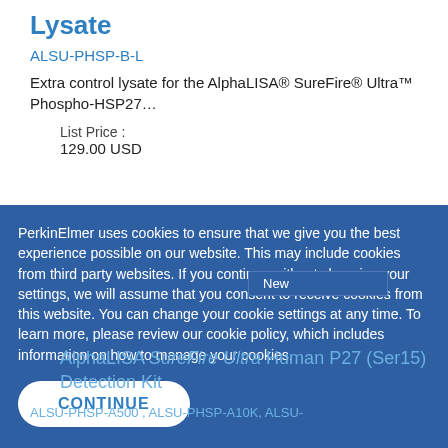Lysate
ALSU-PHSP-B-L
Extra control lysate for the AlphaLISA® SureFire® Ultra™ Phospho-HSP27…
List Price : 129.00 USD
PerkinElmer uses cookies to ensure that we give you the best experience possible on our website. This may include cookies from third party websites. If you continue without changing your settings, we will assume that you consent to receive cookies from this website. You can change your cookie settings at any time. To learn more, please review our cookie policy, which includes information on how to manage your cookies.
New
CONTINUE
AlphaLISA SureFire Ultra Human P27 (Ser15) Detection Kit
ALSU-PHSP-A500 , ALSU-PHSP-A10K, ALSU-